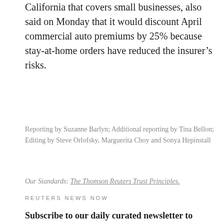California that covers small businesses, also said on Monday that it would discount April commercial auto premiums by 25% because stay-at-home orders have reduced the insurer’s risks.
Reporting by Suzanne Barlyn; Additional reporting by Tina Bellon; Editing by Steve Orlofsky, Marguerita Choy and Sonya Hepinstall
Our Standards: The Thomson Reuters Trust Principles.
REUTERS NEWS NOW
Subscribe to our daily curated newsletter to receive the latest exclusive Reuters coverage delivered to your inbox.